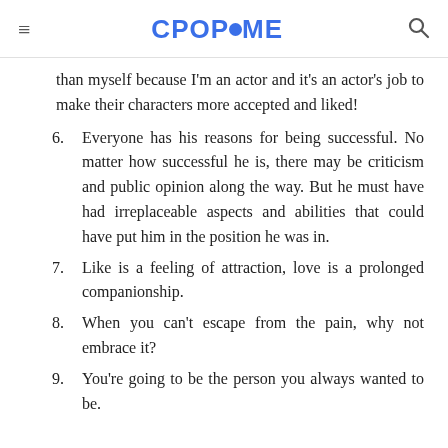CPOPHOME
than myself because I'm an actor and it's an actor's job to make their characters more accepted and liked!
6. Everyone has his reasons for being successful. No matter how successful he is, there may be criticism and public opinion along the way. But he must have had irreplaceable aspects and abilities that could have put him in the position he was in.
7. Like is a feeling of attraction, love is a prolonged companionship.
8. When you can't escape from the pain, why not embrace it?
9. You're going to be the person you always wanted to be.